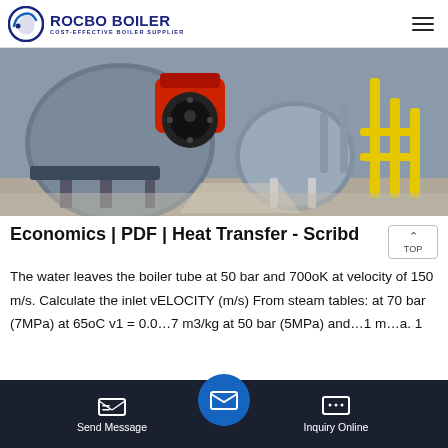ROCBO BOILER COST-EFFECTIVE BOILER SUPPLIER
[Figure (photo): Industrial boiler equipment photo showing large cylindrical boiler drums with burners and yellow gas pipes in a factory setting]
Economics | PDF | Heat Transfer - Scribd
The water leaves the boiler tube at 50 bar and 700oK at velocity of 150 m/s. Calculate the inlet vELOCITY (m/s) From steam tables: at 70 bar (7MPa) at 65oC v1 = 0.0...7 m3/kg at 50 bar (5MPa) and ...1 m...a. 1
Send Message  Inquiry Online